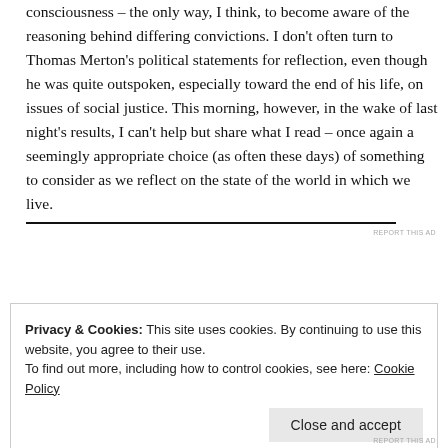consciousness – the only way, I think, to become aware of the reasoning behind differing convictions. I don't often turn to Thomas Merton's political statements for reflection, even though he was quite outspoken, especially toward the end of his life, on issues of social justice. This morning, however, in the wake of last night's results, I can't help but share what I read – once again a seemingly appropriate choice (as often these days) of something to consider as we reflect on the state of the world in which we live.
REPORT THIS AD
Privacy & Cookies: This site uses cookies. By continuing to use this website, you agree to their use.
To find out more, including how to control cookies, see here: Cookie Policy
Close and accept
REPORT THIS AD